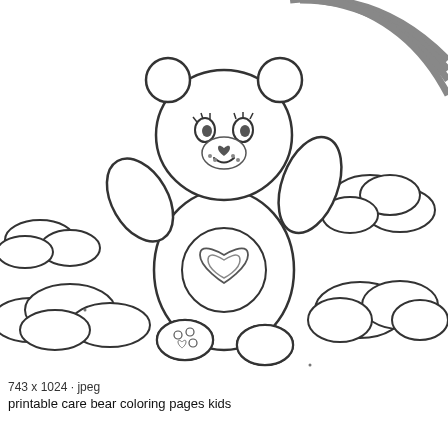[Figure (illustration): Black and white coloring page illustration of a Care Bear with a heart symbol on its tummy, arms raised, sitting among clouds with a rainbow in the upper right background. The bear has a smiling face with freckles and a heart nose. The style is a classic coloring book line drawing.]
743 x 1024 · jpeg
printable care bear coloring pages kids